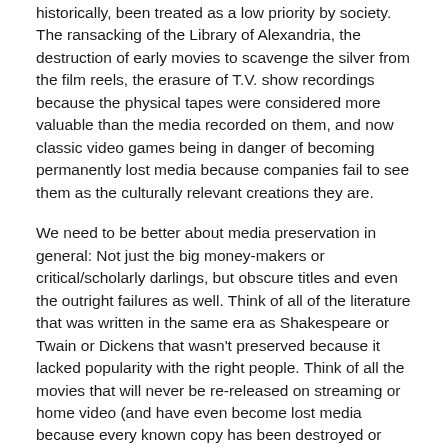historically, been treated as a low priority by society. The ransacking of the Library of Alexandria, the destruction of early movies to scavenge the silver from the film reels, the erasure of T.V. show recordings because the physical tapes were considered more valuable than the media recorded on them, and now classic video games being in danger of becoming permanently lost media because companies fail to see them as the culturally relevant creations they are.
We need to be better about media preservation in general: Not just the big money-makers or critical/scholarly darlings, but obscure titles and even the outright failures as well. Think of all of the literature that was written in the same era as Shakespeare or Twain or Dickens that wasn't preserved because it lacked popularity with the right people. Think of all the movies that will never be re-released on streaming or home video (and have even become lost media because every known copy has been destroyed or allowed to deteriorate over the years) because they flopped at the box office. Think of all the games that current generations either can't play at all or can only play either by going through the expense of purchasing original hardware and a physical copy or using internet-enabled means.